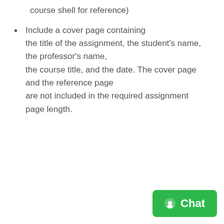course shell for reference)
Include a cover page containing the title of the assignment, the student’s name, the professor’s name, the course title, and the date. The cover page and the reference page are not included in the required assignment page length.